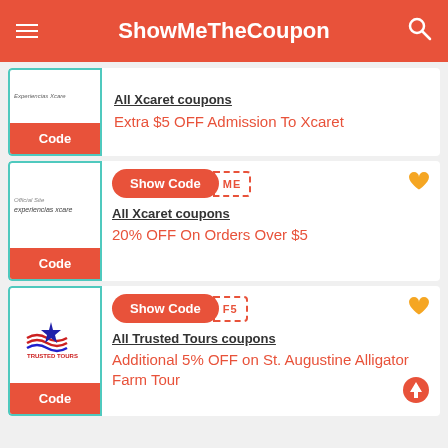ShowMeTheCoupon
[Figure (screenshot): Coupon card 1: All Xcaret coupons - Extra $5 OFF Admission To Xcaret, Code button]
All Xcaret coupons
Extra $5 OFF Admission To Xcaret
[Figure (screenshot): Coupon card 2: Show Code button with ME code reveal, All Xcaret coupons - 20% OFF On Orders Over $5]
All Xcaret coupons
20% OFF On Orders Over $5
[Figure (screenshot): Coupon card 3: Show Code button with F5 code reveal, All Trusted Tours coupons - Additional 5% OFF on St. Augustine Alligator Farm Tour]
All Trusted Tours coupons
Additional 5% OFF on St. Augustine Alligator Farm Tour